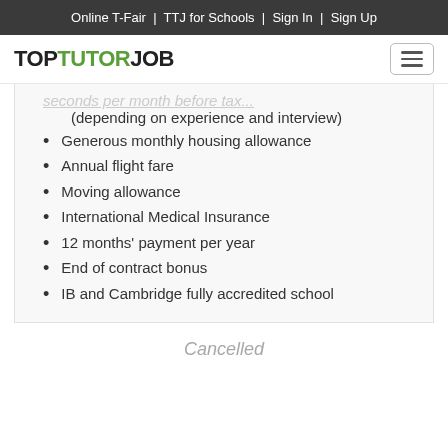Online T-Fair | TTJ for Schools | Sign In | Sign Up
[Figure (logo): TopTutorJob logo with TUTOR in green and TOP JOB in black, plus hamburger menu icon]
(depending on experience and interview)
Generous monthly housing allowance
Annual flight fare
Moving allowance
International Medical Insurance
12 months' payment per year
End of contract bonus
IB and Cambridge fully accredited school
Cancelled